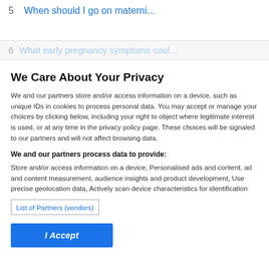5  When should I go on materni...
6  What early pregnancy symptoms coul...
We Care About Your Privacy
We and our partners store and/or access information on a device, such as unique IDs in cookies to process personal data. You may accept or manage your choices by clicking below, including your right to object where legitimate interest is used, or at any time in the privacy policy page. These choices will be signaled to our partners and will not affect browsing data.
We and our partners process data to provide:
Store and/or access information on a device, Personalised ads and content, ad and content measurement, audience insights and product development, Use precise geolocation data, Actively scan device characteristics for identification
List of Partners (vendors)
I Accept